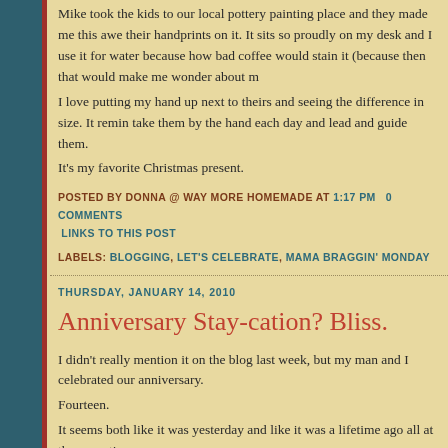Mike took the kids to our local pottery painting place and they made me this awe their handprints on it. It sits so proudly on my desk and I use it for water because how bad coffee would stain it (because then that would make me wonder about m
I love putting my hand up next to theirs and seeing the difference in size. It remin take them by the hand each day and lead and guide them.
It's my favorite Christmas present.
POSTED BY DONNA @ WAY MORE HOMEMADE AT 1:17 PM   0 COMMENTS   LINKS TO THIS POST
LABELS: BLOGGING, LET'S CELEBRATE, MAMA BRAGGIN' MONDAY
THURSDAY, JANUARY 14, 2010
Anniversary Stay-cation? Bliss.
I didn't really mention it on the blog last week, but my man and I celebrated our anniversary.
Fourteen.
It seems both like it was yesterday and like it was a lifetime ago all at the same ti